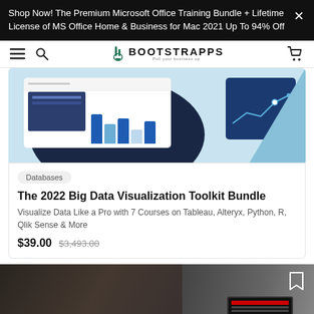Shop Now! The Premium Microsoft Office Training Bundle + Lifetime License of MS Office Home & Business for Mac 2021 Up To 94% Off
[Figure (screenshot): Bootstrapps website navigation bar with hamburger menu, search icon, logo, and cart icon]
[Figure (illustration): Data visualization dashboard illustration with bar charts, line chart, dark navy background circle, and blue geometric shapes on light blue background]
Databases
The 2022 Big Data Visualization Toolkit Bundle
Visualize Data Like a Pro with 7 Courses on Tableau, Alteryx, Python, R, Qlik Sense & More
$39.00  $3,493.00
[Figure (photo): Partially visible photo of a person at a laptop, dark background]